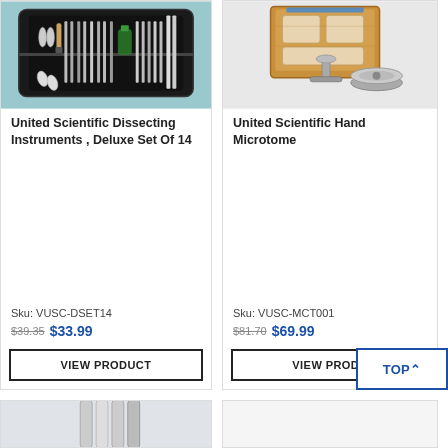[Figure (photo): Dissecting instruments set in a black zippered case showing scissors, probes, scalpels and other tools on a light blue background]
United Scientific Dissecting Instruments , Deluxe Set Of 14
Sku: VUSC-DSET14
$39.35  $33.99
VIEW PRODUCT
[Figure (photo): Wooden hand microtome box with blue tape and silver microtome disk accessory on white background]
United Scientific Hand Microtome
Sku: VUSC-MCT001
$81.70  $69.99
VIEW PRODUCT
TOP ^
[Figure (photo): Partial view of a scientific instrument on gray background — bottom left card]
[Figure (photo): Partial blank white card — bottom right]